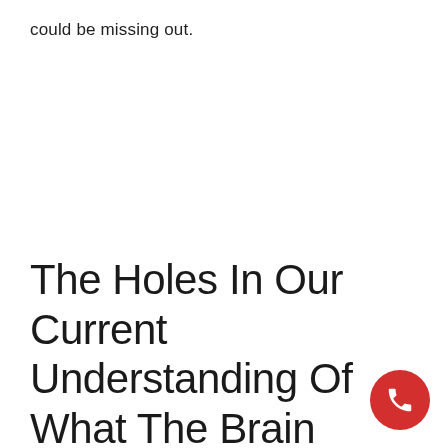could be missing out.
The Holes In Our Current Understanding Of What The Brain Needs To Be Healthy Could Potentially